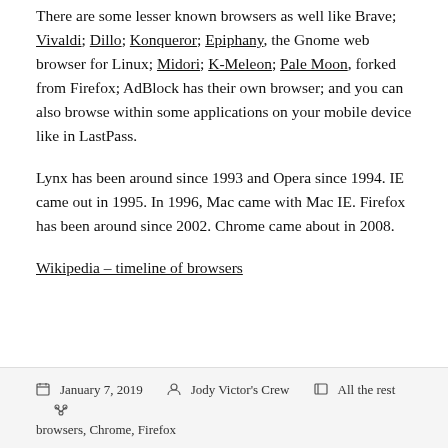There are some lesser known browsers as well like Brave; Vivaldi; Dillo; Konqueror; Epiphany, the Gnome web browser for Linux; Midori; K-Meleon; Pale Moon, forked from Firefox; AdBlock has their own browser; and you can also browse within some applications on your mobile device like in LastPass.
Lynx has been around since 1993 and Opera since 1994. IE came out in 1995. In 1996, Mac came with Mac IE. Firefox has been around since 2002. Chrome came about in 2008.
Wikipedia – timeline of browsers
January 7, 2019  Jody Victor's Crew  All the rest  browsers, Chrome, Firefox